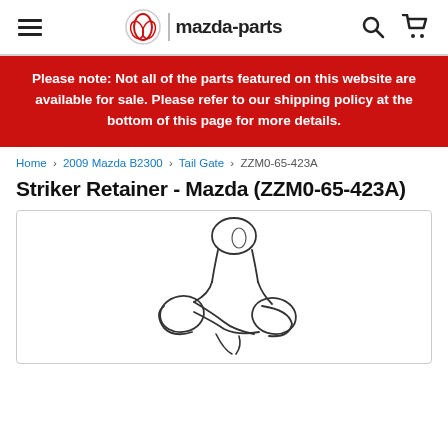mazda-parts navigation header with hamburger menu, logo, search and cart icons
Please note: Not all of the parts featured on this website are available for sale. Please refer to our shipping policy at the bottom of this page for more details.
Home › 2009 Mazda B2300 › Tail Gate › ZZM0-65-423A
Striker Retainer - Mazda (ZZM0-65-423A)
[Figure (illustration): Line drawing illustration of a Striker Retainer part (ZZM0-65-423A) for Mazda, showing a mechanical component with bolt-like shape and two circular mounting flanges.]